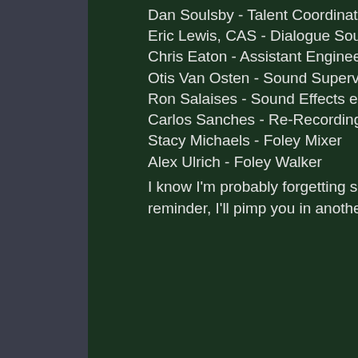Dan Soulsby - Talent Coordinator
Eric Lewis, CAS - Dialogue Sound Mixer
Chris Eaton - Assistant Engineer
Otis Van Osten - Sound Supervisor
Ron Salaises - Sound Effects editor
Carlos Sanches - Re-Recording Mixer
Stacy Michaels - Foley Mixer
Alex Ulrich - Foley Walker
I know I'm probably forgetting some folks, and I REA reminder, I'll pimp you in another post!
Question received
spence writes...
Will season two only have 20 episodes, or is there st episodes?
Greg responds...
Twenty.